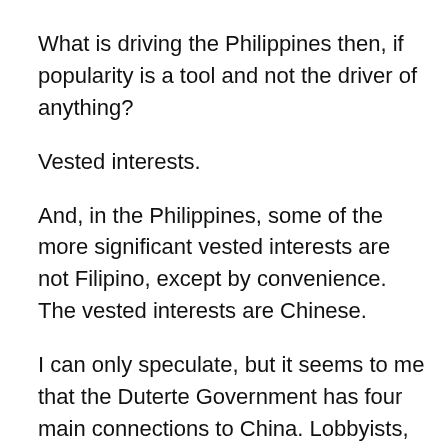What is driving the Philippines then, if popularity is a tool and not the driver of anything?
Vested interests.
And, in the Philippines, some of the more significant vested interests are not Filipino, except by convenience. The vested interests are Chinese.
I can only speculate, but it seems to me that the Duterte Government has four main connections to China. Lobbyists, to be kind. Agents to be unkind.
The first is always on scene. He's the day-to-day director. The manager, or handler. The public relations pro. The selfie king. Bong Go. The architect of the populist initiatives that captured the presidency in 2016 and the Senate in 2019...